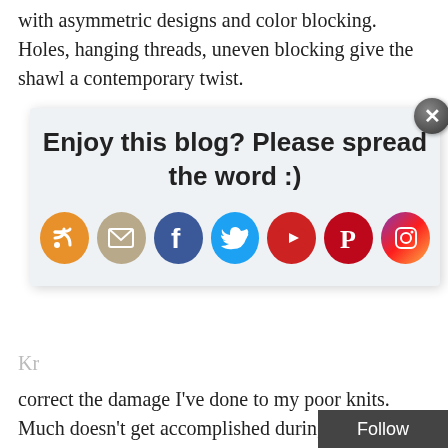with asymmetric designs and color blocking. Holes, hanging threads, uneven blocking give the shawl a contemporary twist.
[Figure (infographic): Popup overlay with 'Enjoy this blog? Please spread the word :)' heading and 7 social media icon buttons (RSS, Email, Facebook, Twitter, YouTube, Pinterest, Instagram). Has an X close button in top right corner.]
Kr
correct the damage I've done to my poor knits.  Much doesn't get accomplished during our monthly knit meetups since the sangria pitchers are overflowing and the stitches dropping. Usually, I can get through a row, though barely, as I sit gabbing with sangria dripping down my face. My knitting friends look at me intently and ask: "How many more times are you going to fuck this up? Maybe you need to stop multitasking-kn